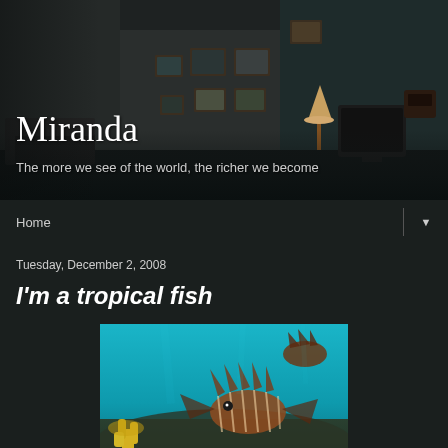[Figure (photo): Dark atmospheric room scene with vintage framed pictures on wall, old television, lamp, sofa, and telephone — moody dark tones]
Miranda
The more we see of the world, the richer we become
Home ▼
Tuesday, December 2, 2008
I'm a tropical fish
[Figure (photo): Underwater photo of a lionfish near coral reef with teal blue water, yellow coral in foreground]